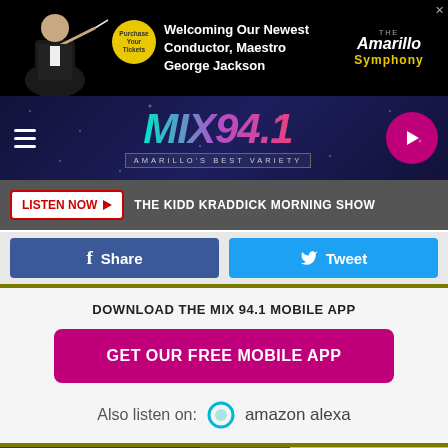[Figure (screenshot): Amarillo Symphony advertisement banner — black background with conductor figure, yellow purchase badge, white text 'Welcoming Our Newest Conductor, Maestro George Jackson', and Amarillo Symphony logo]
[Figure (logo): MIX 94.1 radio station navigation bar — teal/purple/pink gradient logo text, 'AMARILLO'S BEST VARIETY' tagline, hamburger menu, and pink play button]
THE KIDD KRADDICK MORNING SHOW
Share
Tweet
DOWNLOAD THE MIX 94.1 MOBILE APP
GET OUR FREE MOBILE APP
Also listen on:  amazon alexa
[Figure (screenshot): Stacy's Uniforms advertisement — blue background with 'BIGGEST SELECTION OF UNIFORMS IN THE PANHANDLE!' text, person in uniform photo, yellow right panel with Stacy's Uniforms logo and shop details]